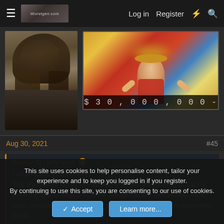≡  [logo]   Log in   Register   ⚡   🔍
[Figure (photo): Left: portrait photo of a dark-haired man with long hair and rugged appearance. Right: anime image of Monkey D. Luffy from One Piece in red outfit with straw hat, bounty text '$30,000,000-' at bottom.]
Aug 30, 2021   #45
Human D Luffy said: ↑

I understand your concern.
The shimotsuki family is a bit different from the monkey d. clan or even the germa kingdom, in the sense that the shimotskuis have been considered a thing of the past with no relevancy in wano after Kaido
This site uses cookies to help personalise content, tailor your experience and to keep you logged in if you register.
By continuing to use this site, you are consenting to our use of cookies.
[Accept]  [Learn more...]